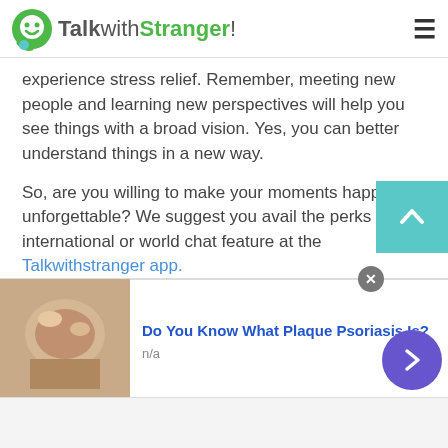TalkwithStranger!
experience stress relief. Remember, meeting new people and learning new perspectives will help you see things with a broad vision. Yes, you can better understand things in a new way.
So, are you willing to make your moments happy and unforgettable? We suggest you avail the perks of international or world chat feature at the Talkwithstranger app.
Free conference calls
[Figure (screenshot): Scroll to top button - teal/cyan square with upward chevron]
[Figure (screenshot): Advertisement banner: 'Do You Know What Plaque Psoriasis Is?' with photo of skin, n/a label, close button, and purple arrow navigation button]